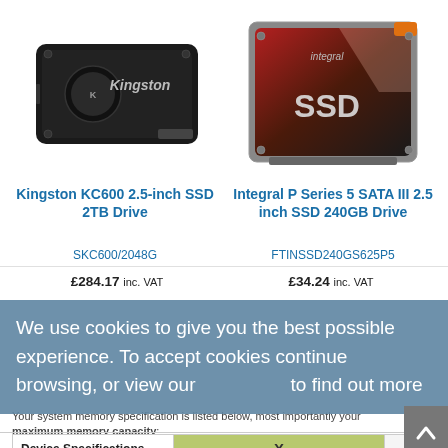[Figure (photo): Kingston KC600 2.5-inch SSD 2TB Drive product photo - black SSD drive]
[Figure (photo): Integral P Series 5 SATA III 2.5 inch SSD 240GB Drive product photo - dark SSD with SSD label]
Kingston KC600 2.5-inch SSD 2TB Drive
Integral P Series 5 SATA III 2.5 inch SSD 240GB Drive
SKC600/2048G
FTINSSD240GS625P5
£284.17 inc. VAT
£34.24 inc. VAT
We use cookies to give you the best possible experience. To accept cookies continue browsing, or view our to find out more
Your system memory specification is listed below, most importantly your maximum memory capacity:
| Device Specifications | X |  |
| --- | --- | --- |
| Make + Model | Acer Aspire A315-21-927W |  |